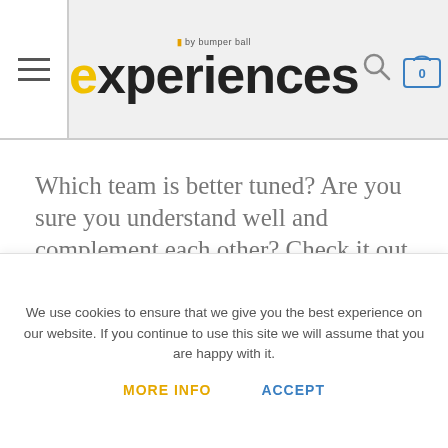experiences by bumper ball
Which team is better tuned? Are you sure you understand well and complement each other? Check it out during the Escape Room Challenge! You’ll be locked up in two rooms – wins the team that manages to break free faster.
We use cookies to ensure that we give you the best experience on our website. If you continue to use this site we will assume that you are happy with it.
MORE INFO   ACCEPT